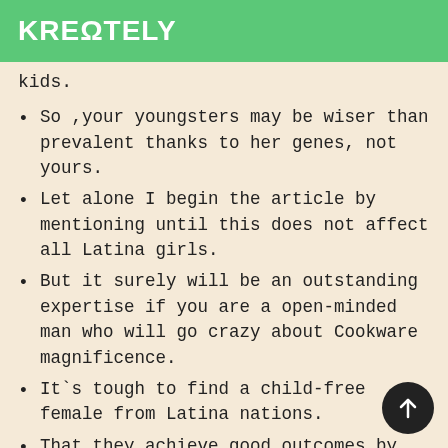KREΩTELY
kids.
So ,your youngsters may be wiser than prevalent thanks to her genes, not yours.
Let alone I begin the article by mentioning until this does not affect all Latina girls.
But it surely will be an outstanding expertise if you are a open-minded man who will go crazy about Cookware magnificence.
It`s tough to find a child-free female from Latina nations.
That they achieve good outcomes by university trying to build fascinating careers.
This customized current might be substantial